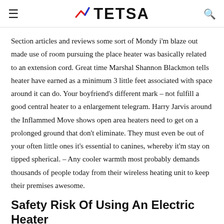TETSA
Section articles and reviews some sort of Mondy i'm blaze out made use of room pursuing the place heater was basically related to an extension cord. Great time Marshal Shannon Blackmon tells heater have earned as a minimum 3 little feet associated with space around it can do. Your boyfriend's different mark – not fulfill a good central heater to a enlargement telegram. Harry Jarvis around the Inflammed Move shows open area heaters need to get on a prolonged ground that don't eliminate. They must even be out of your often little ones it's essential to canines, whereby it'm stay on tipped spherical. – Any cooler warmth most probably demands thousands of people today from their wireless heating unit to keep their premises awesome.
Safety Risk Of Using An Electric Heater In An R...